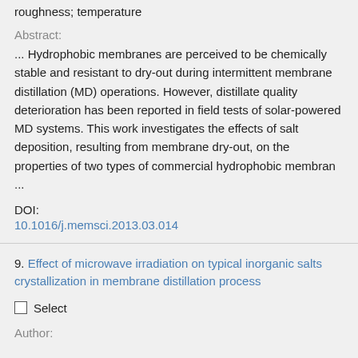roughness; temperature
Abstract:
... Hydrophobic membranes are perceived to be chemically stable and resistant to dry-out during intermittent membrane distillation (MD) operations. However, distillate quality deterioration has been reported in field tests of solar-powered MD systems. This work investigates the effects of salt deposition, resulting from membrane dry-out, on the properties of two types of commercial hydrophobic membran ...
DOI:
10.1016/j.memsci.2013.03.014
9. Effect of microwave irradiation on typical inorganic salts crystallization in membrane distillation process
Select
Author: